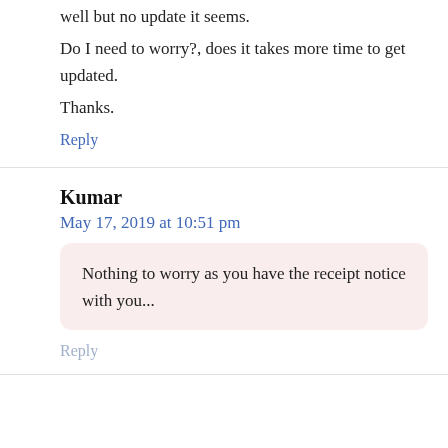well but no update it seems.
Do I need to worry?, does it takes more time to get updated.
Thanks.
Reply
Kumar
May 17, 2019 at 10:51 pm
Nothing to worry as you have the receipt notice with you...
Reply